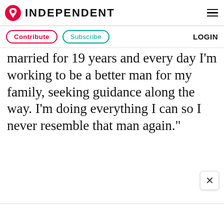INDEPENDENT
Contribute   Subscribe   LOGIN
married for 19 years and every day I'm working to be a better man for my family, seeking guidance along the way. I'm doing everything I can so I never resemble that man again."